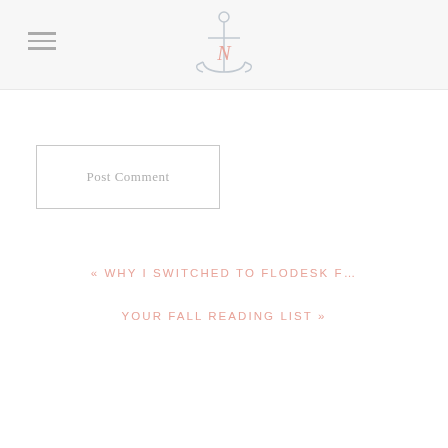Navigation header with hamburger menu and anchor logo with N
Post Comment
« WHY I SWITCHED TO FLODESK F…
YOUR FALL READING LIST »